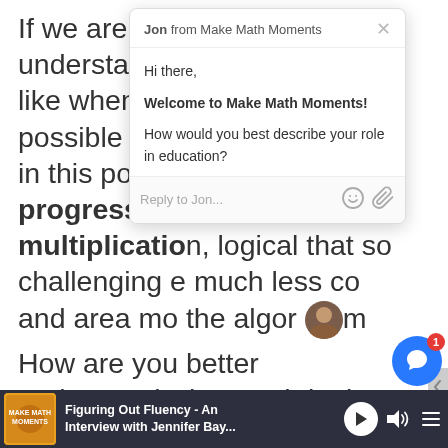If we are helping students understand what math looks like whenever and wherever possible as I have tried to do in this post for the progression of multiplication, logical that so[me find it] challenging e[ven] much less co[mprehend] and area mo[del and] the algor[ith]m.
[Figure (screenshot): Chat popup from 'Jon from Make Math Moments' with greeting 'Hi there,' followed by 'Welcome to Make Math Moments!' and question 'How would you best describe your role in education?' with a reply input field showing 'Reply to Jon...' placeholder and emoji/attachment icons.]
How are you [helping students] better understand what math looks like concretely and visually?
[Figure (screenshot): Bottom podcast player bar showing 'Figuring Out Fluency - An Interview with Jennifer Bay...' with play, volume, and menu controls on a dark background.]